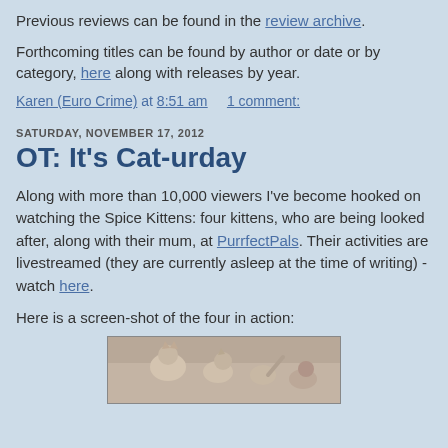Previous reviews can be found in the review archive.
Forthcoming titles can be found by author or date or by category, here along with releases by year.
Karen (Euro Crime) at 8:51 am     1 comment:
SATURDAY, NOVEMBER 17, 2012
OT: It's Cat-urday
Along with more than 10,000 viewers I've become hooked on watching the Spice Kittens: four kittens, who are being looked after, along with their mum, at PurrfectPals. Their activities are livestreamed (they are currently asleep at the time of writing) - watch here.
Here is a screen-shot of the four in action:
[Figure (screenshot): Screenshot of a video stream showing kittens, with DVR badge and control buttons visible]